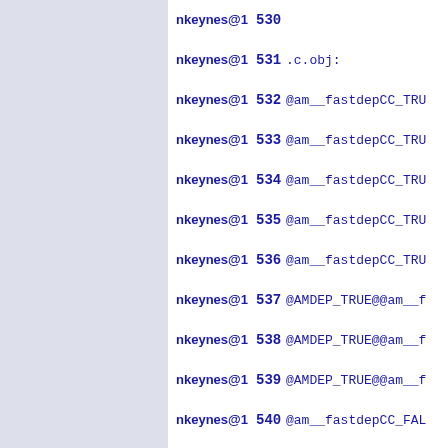nkeynes@1   530
nkeynes@1   531 .c.obj:
nkeynes@1   532 @am__fastdepCC_TRU
nkeynes@1   533 @am__fastdepCC_TRU
nkeynes@1   534 @am__fastdepCC_TRU
nkeynes@1   535 @am__fastdepCC_TRU
nkeynes@1   536 @am__fastdepCC_TRU
nkeynes@1   537 @AMDEP_TRUE@@am__f
nkeynes@1   538 @AMDEP_TRUE@@am__f
nkeynes@1   539 @AMDEP_TRUE@@am__f
nkeynes@1   540 @am__fastdepCC_FAL